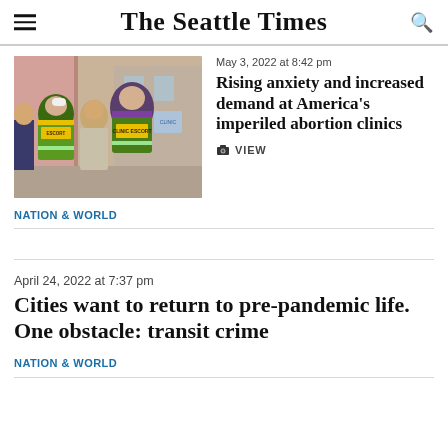The Seattle Times
[Figure (photo): People wearing clinic escort vests outside a building; one vest reads CLINIC ESCORT in yellow on purple/green.]
May 3, 2022 at 8:42 pm
Rising anxiety and increased demand at America's imperiled abortion clinics
VIEW
NATION & WORLD
April 24, 2022 at 7:37 pm
Cities want to return to pre-pandemic life. One obstacle: transit crime
NATION & WORLD